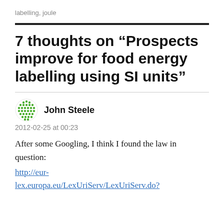labelling, joule
7 thoughts on “Prospects improve for food energy labelling using SI units”
John Steele
2012-02-25 at 00:23
After some Googling, I think I found the law in question:
http://eur-lex.europa.eu/LexUriServ/LexUriServ.do?